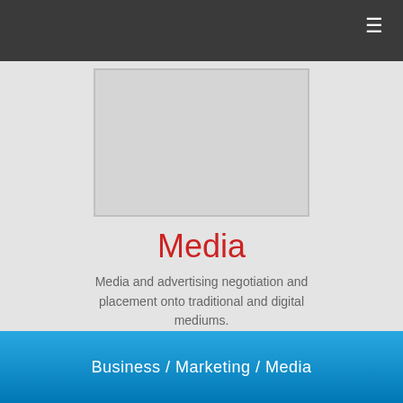≡
[Figure (illustration): Placeholder image box with light gray fill and border, representing a media-related image]
Media
Media and advertising negotiation and placement onto traditional and digital mediums.
Business / Marketing / Media